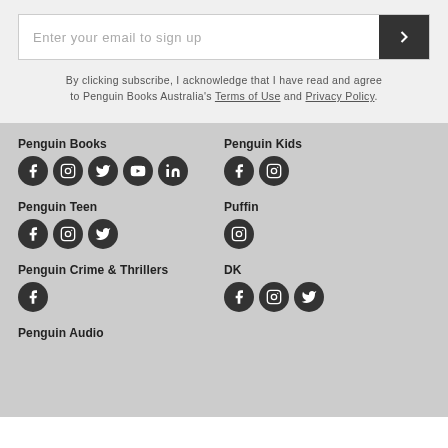Enter your email to sign up
By clicking subscribe, I acknowledge that I have read and agree to Penguin Books Australia's Terms of Use and Privacy Policy.
Penguin Books
Penguin Kids
Penguin Teen
Puffin
Penguin Crime & Thrillers
DK
Penguin Audio